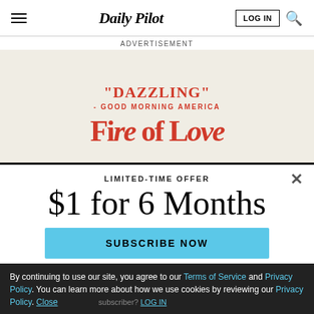Daily Pilot
ADVERTISEMENT
[Figure (illustration): Advertisement banner for the movie 'Fire of Love' with quote "DAZZLING" - GOOD MORNING AMERICA on a cream background with red bold retro typography]
LIMITED-TIME OFFER
$1 for 6 Months
SUBSCRIBE NOW
By continuing to use our site, you agree to our Terms of Service and Privacy Policy. You can learn more about how we use cookies by reviewing our Privacy Policy. Close
Already a subscriber? LOG IN